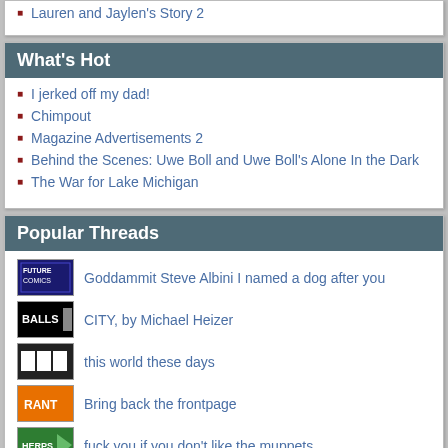Lauren and Jaylen's Story 2
What's Hot
I jerked off my dad!
Chimpout
Magazine Advertisements 2
Behind the Scenes: Uwe Boll and Uwe Boll's Alone In the Dark
The War for Lake Michigan
Popular Threads
Goddammit Steve Albini I named a dog after you
CITY, by Michael Heizer
this world these days
Bring back the frontpage
fuck you if you don't like the muppets
Random Articles
Hypertrophy Genitals Girl
January 28, 2014